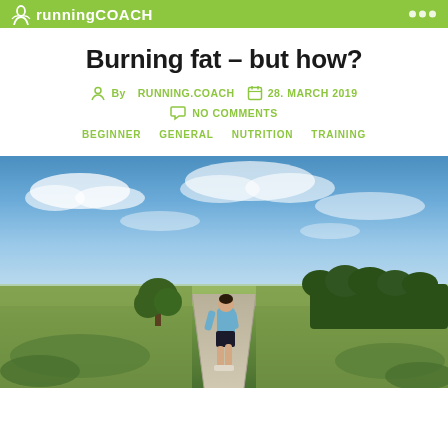runningCOACH
Burning fat – but how?
By RUNNING.COACH  28. MARCH 2019  NO COMMENTS
BEGINNER  GENERAL  NUTRITION  TRAINING
[Figure (photo): A runner in a light blue shirt and dark shorts running away from camera along a rural road through open moorland, with a dramatic cloudy blue sky, a tree on the left, and a forest on the right.]